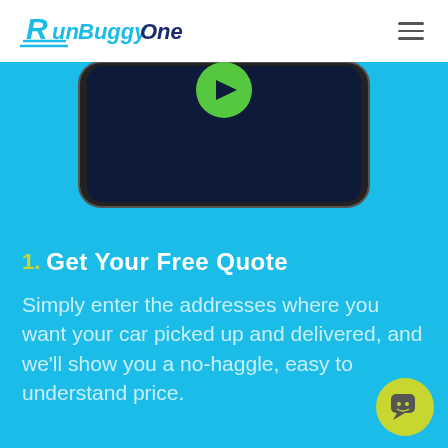RunBuggyOne
[Figure (screenshot): Partial view of a smartphone screen showing the RunBuggyOne app interface with a dark navy screen background and green play/record button, displayed against a cyan/light blue background.]
1. Get Your Free Quote
Simply enter the addresses where you want your car picked up and delivered, and we'll show you a no-haggle, easy to understand price.